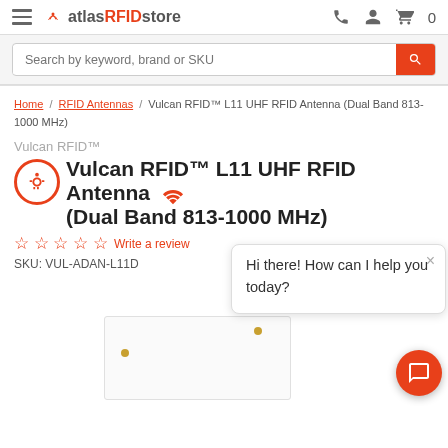atlasRFIDstore — navigation header with hamburger menu, logo, phone, account, and cart icons
Search by keyword, brand or SKU
Home / RFID Antennas / Vulcan RFID™ L11 UHF RFID Antenna (Dual Band 813-1000 MHz)
Vulcan RFID™
Vulcan RFID™ L11 UHF RFID Antenna (Dual Band 813-1000 MHz)
Write a review
SKU: VUL-ADAN-L11D
Hi there! How can I help you today?
[Figure (photo): Partial view of a white RFID antenna panel with two gold connector dots]